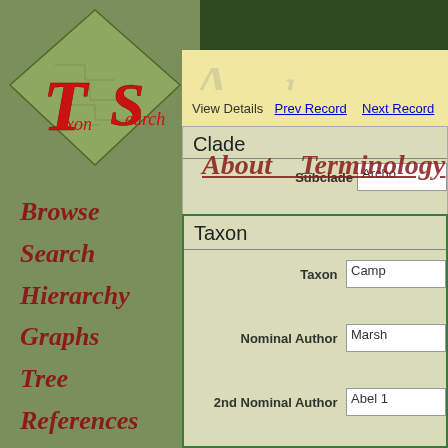[Figure (logo): TaxonSearch logo with diamond shape and stylized T and S letters in red on green background]
Browse
Search
Hierarchy
Graphs
Tree
References
View Details   Prev Record   Next Record
Clade
Subclade  Archo
[Figure (illustration): Decorative italic red script text reading 'About    Terminology' overlaid on the content area]
Taxon
Taxon  Camp
Nominal Author  Marsh
2nd Nominal Author  Abel 1